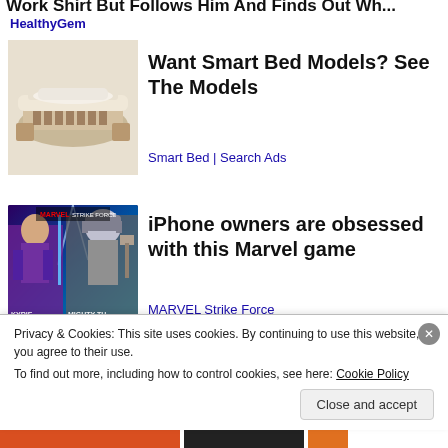...Work Shirt But Follows Him And Finds Out Wh...
HealthyGem
[Figure (photo): Photo of a smart bed with storage compartments and modern design]
Want Smart Bed Models? See The Models
Smart Bed | Search Ads
[Figure (photo): Marvel Strike Force game promotional image showing Valkyrie and Mighty Thor characters]
iPhone owners are obsessed with this Marvel game
MARVEL Strike Force
Privacy & Cookies: This site uses cookies. By continuing to use this website, you agree to their use.
To find out more, including how to control cookies, see here: Cookie Policy
Close and accept